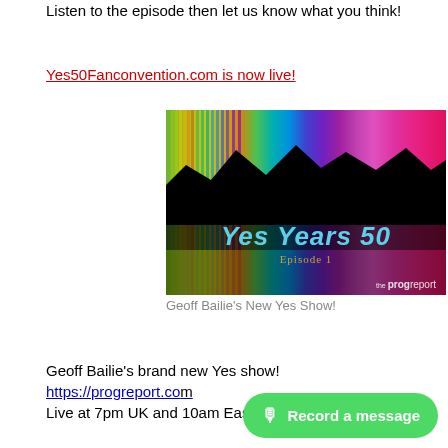Listen to the episode then let us know what you think!
Yes50Fanconvention.com is now live!
[Figure (photo): Yes Years 50 Episode 1 promotional image with rainbow colored vertical stripes and mountain silhouette, branded 'the prog report']
Geoff Bailie's New Yes Show!
Geoff Bailie's brand new Yes show! https://progreport.co… Live at 7pm UK and 10am Eastern Time on